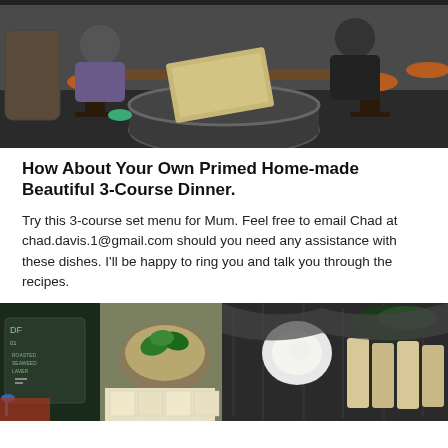[Figure (photo): Two people sitting at a wooden table with bar stools in a restaurant, looking at a menu. Orange bar stools visible, barrel in the foreground.]
How About Your Own Primed Home-made Beautiful 3-Course Dinner.
Try this 3-course set menu for Mum. Feel free to email Chad at chad.davis.1@gmail.com should you need any assistance with these dishes. I'll be happy to ring you and talk you through the recipes.
[Figure (photo): Food ingredients including Korean nori seaweed packages, spinach in a bowl, tofu or bamboo shoots on a cutting board.]
[Figure (photo): Food items on a dark foil background, including what appears to be tofu, eggs, and other Korean cooking ingredients.]